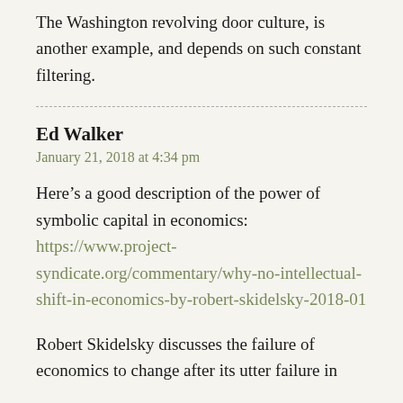The Washington revolving door culture, is another example, and depends on such constant filtering.
Ed Walker
January 21, 2018 at 4:34 pm
Here’s a good description of the power of symbolic capital in economics: https://www.project-syndicate.org/commentary/why-no-intellectual-shift-in-economics-by-robert-skidelsky-2018-01
Robert Skidelsky discusses the failure of economics to change after its utter failure in